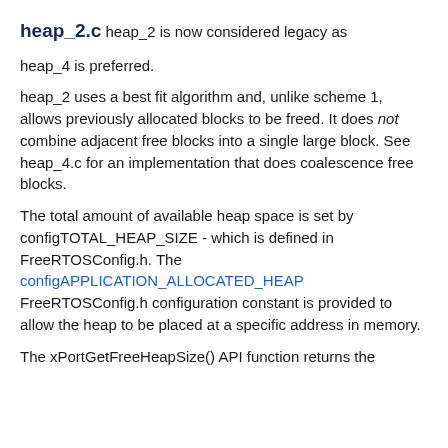heap_2.c heap_2 is now considered legacy as
heap_4 is preferred.
heap_2 uses a best fit algorithm and, unlike scheme 1, allows previously allocated blocks to be freed. It does not combine adjacent free blocks into a single large block. See heap_4.c for an implementation that does coalescence free blocks.
The total amount of available heap space is set by configTOTAL_HEAP_SIZE - which is defined in FreeRTOSConfig.h. The configAPPLICATION_ALLOCATED_HEAP FreeRTOSConfig.h configuration constant is provided to allow the heap to be placed at a specific address in memory.
The xPortGetFreeHeapSize() API function returns the